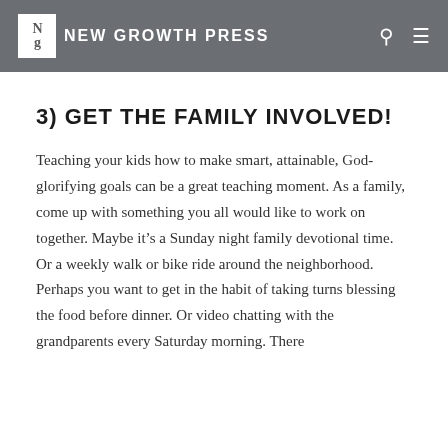NEW GROWTH PRESS
3) GET THE FAMILY INVOLVED!
Teaching your kids how to make smart, attainable, God-glorifying goals can be a great teaching moment. As a family, come up with something you all would like to work on together. Maybe it's a Sunday night family devotional time. Or a weekly walk or bike ride around the neighborhood. Perhaps you want to get in the habit of taking turns blessing the food before dinner. Or video chatting with the grandparents every Saturday morning. There